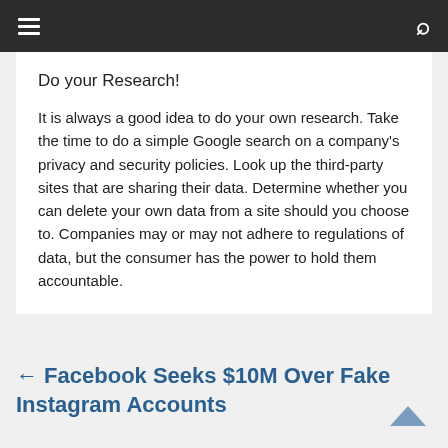≡  🔍
Do your Research!
It is always a good idea to do your own research. Take the time to do a simple Google search on a company's privacy and security policies. Look up the third-party sites that are sharing their data. Determine whether you can delete your own data from a site should you choose to. Companies may or may not adhere to regulations of data, but the consumer has the power to hold them accountable.
← Facebook Seeks $10M Over Fake Instagram Accounts